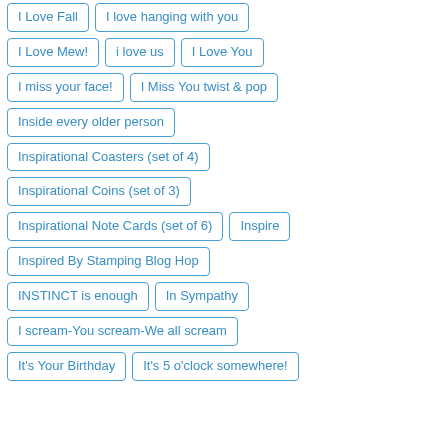I Love Fall
I love hanging with you
I Love Mew!
i love us
I Love You
I miss your face!
I Miss You twist & pop
Inside every older person
Inspirational Coasters (set of 4)
Inspirational Coins (set of 3)
Inspirational Note Cards (set of 6)
Inspire
Inspired By Stamping Blog Hop
INSTINCT is enough
In Sympathy
I scream-You scream-We all scream
It's Your Birthday
It's 5 o'clock somewhere!